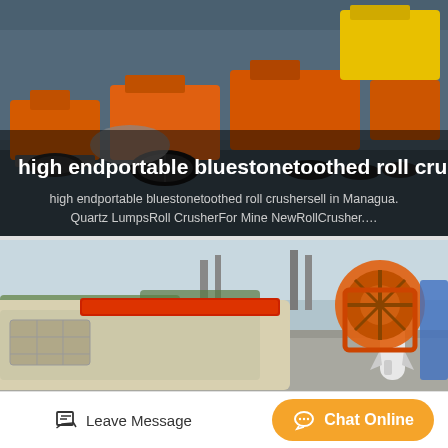[Figure (photo): Industrial mining/crushing machines (orange and yellow) lined up in a factory yard]
high endportable bluestonetoothed roll cru…
high endportable bluestonetoothed roll crushersell in Managua. Quartz LumpsRoll CrusherFor Mine NewRollCrusher.…
[Figure (photo): Industrial sand washing/mineral processing machine (cream colored) in outdoor yard with red wheel machine in background]
Leave Message
Chat Online